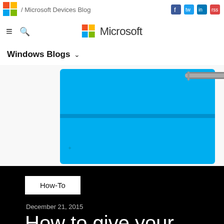/ Microsoft Devices Blog
[Figure (logo): Microsoft four-color logo squares in nav bar]
Windows Blogs
[Figure (photo): Surface tablet with blue Type Cover and Surface Pen resting on top, photographed from above on white background]
How-To
December 21, 2015
How to give your